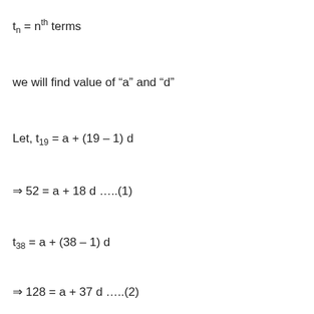we will find value of “a” and “d”